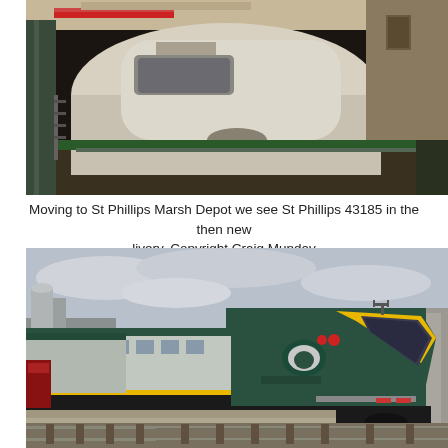[Figure (photo): Interior depot scene showing underside/front of a train car in a maintenance shed. Dark industrial setting with green metal structure visible on the right side. The train is light-colored/white.]
Moving to St Phillips Marsh Depot we see St Phillips 43185 in the then new livery. Copyright Craig Munday
[Figure (photo): A Great Western HST (High Speed Train) numbered 43185 in dark green and yellow livery at a station platform. Overcast sky, railway tracks visible in foreground, industrial building on the right.]